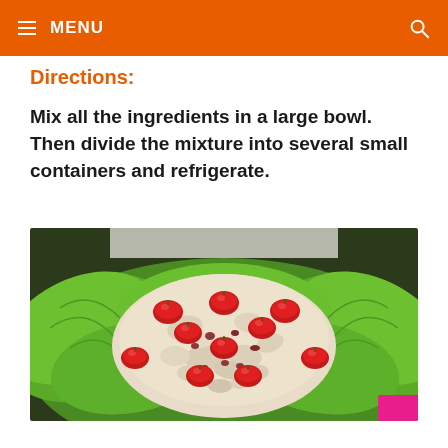MENU
Directions:
Mix all the ingredients in a large bowl. Then divide the mixture into several small containers and refrigerate.
[Figure (photo): A chicken salad dish with cherry tomatoes arranged on top and surrounded by green lettuce leaves, served on a platter.]